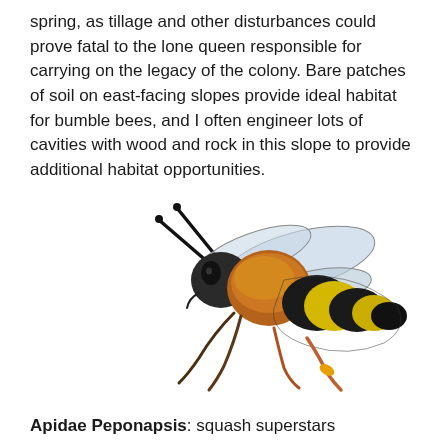spring, as tillage and other disturbances could prove fatal to the lone queen responsible for carrying on the legacy of the colony. Bare patches of soil on east-facing slopes provide ideal habitat for bumble bees, and I often engineer lots of cavities with wood and rock in this slope to provide additional habitat opportunities.
[Figure (photo): Close-up side view of a bumble bee (Peponapsis species) on a white background, showing fuzzy orange thorax, black and yellow striped abdomen, dark wings, long black antennae, and reddish-orange legs.]
Apidae Peponapsis: squash superstars